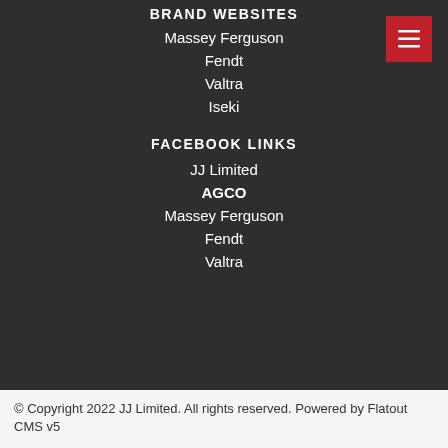BRAND WEBSITES
Massey Ferguson
Fendt
Valtra
Iseki
FACEBOOK LINKS
JJ Limited
AGCO
Massey Ferguson
Fendt
Valtra
© Copyright 2022 JJ Limited. All rights reserved. Powered by Flatout CMS v5